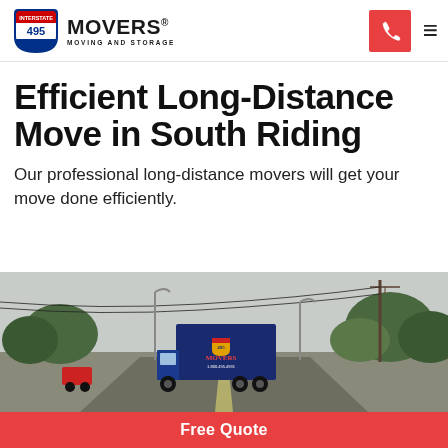495 MOVERS MOVING AND STORAGE
Efficient Long-Distance Move in South Riding
Our professional long-distance movers will get your move done efficiently.
[Figure (photo): A 495 Movers branded moving truck driving on a road with trees and utility poles in the background, overcast sky.]
Free Quote